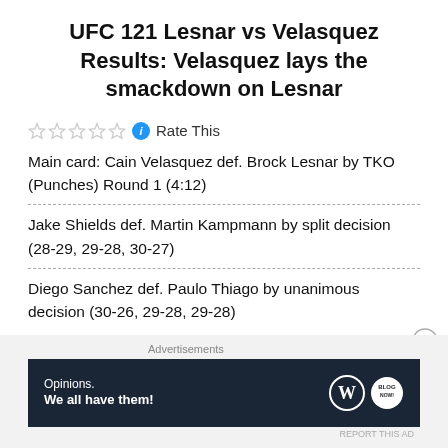UFC 121 Lesnar vs Velasquez Results: Velasquez lays the smackdown on Lesnar
☆☆☆☆☆ ⓘ Rate This
Main card: Cain Velasquez def. Brock Lesnar by TKO (Punches) Round 1 (4:12)
Jake Shields def. Martin Kampmann by split decision (28-29, 29-28, 30-27)
Diego Sanchez def. Paulo Thiago by unanimous decision (30-26, 29-28, 29-28)
[Figure (other): WordPress advertisement banner: 'Opinions. We all have them!' with WordPress and another logo]